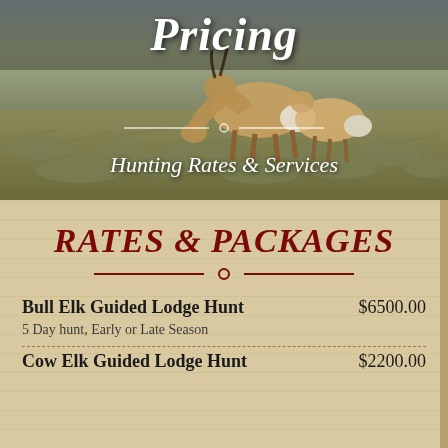[Figure (photo): Hero image showing two pronghorn antelope in a sagebrush field with text overlay 'Pricing' and 'Hunting Rates & Services']
Pricing
Hunting Rates & Services
RATES & PACKAGES
Bull Elk Guided Lodge Hunt    $6500.00
5 Day hunt, Early or Late Season
Cow Elk Guided Lodge Hunt    $2200.00